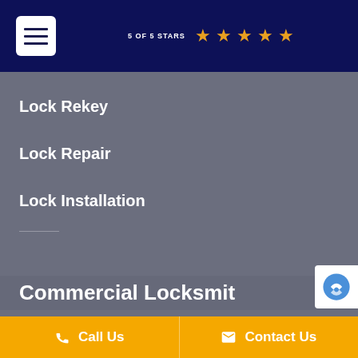5 OF 5 STARS ★★★★★
Lock Rekey
Lock Repair
Lock Installation
Commercial Locksmith
Call Us   Contact Us